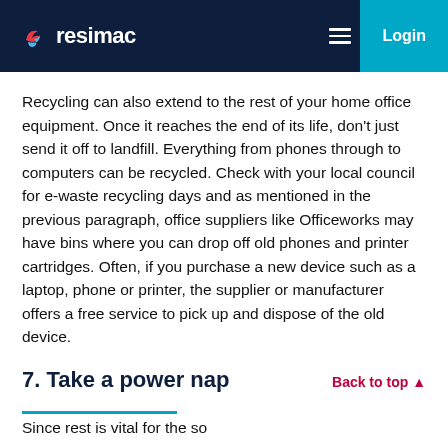resimac | Login
Recycling can also extend to the rest of your home office equipment. Once it reaches the end of its life, don't just send it off to landfill. Everything from phones through to computers can be recycled. Check with your local council for e-waste recycling days and as mentioned in the previous paragraph, office suppliers like Officeworks may have bins where you can drop off old phones and printer cartridges. Often, if you purchase a new device such as a laptop, phone or printer, the supplier or manufacturer offers a free service to pick up and dispose of the old device.
7. Take a power nap
Back to top ▲
Since rest is vital for the software...